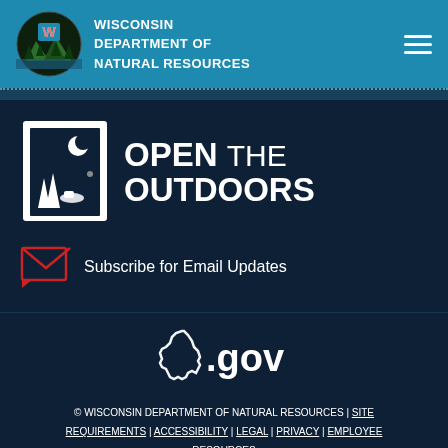WISCONSIN DEPARTMENT OF NATURAL RESOURCES
[Figure (logo): Open the Outdoors logo with door icon showing winter scene with trees, snowmobiler, and moon]
Subscribe for Email Updates
[Figure (logo): Wisconsin.gov logo with outline of Wisconsin state shape]
© WISCONSIN DEPARTMENT OF NATURAL RESOURCES | SITE REQUIREMENTS | ACCESSIBILITY | LEGAL | PRIVACY | EMPLOYEE RESOURCES